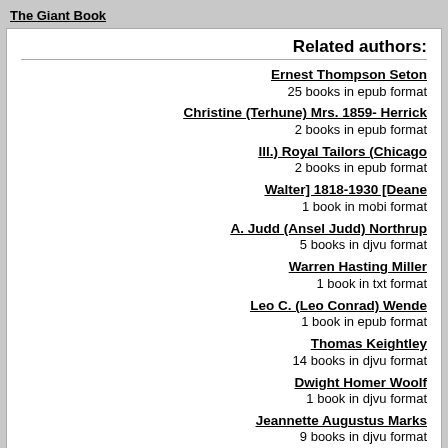The Giant Book
Related authors:
Ernest Thompson Seton
25 books in epub format
Christine (Terhune) Mrs. 1859- Herrick
2 books in epub format
Ill.) Royal Tailors (Chicago
2 books in epub format
Walter] 1818-1930 [Deane
1 book in mobi format
A. Judd (Ansel Judd) Northrup
5 books in djvu format
Warren Hasting Miller
1 book in txt format
Leo C. (Leo Conrad) Wende
1 book in epub format
Thomas Keightley
14 books in djvu format
Dwight Homer Woolf
1 book in djvu format
Jeannette Augustus Marks
9 books in djvu format